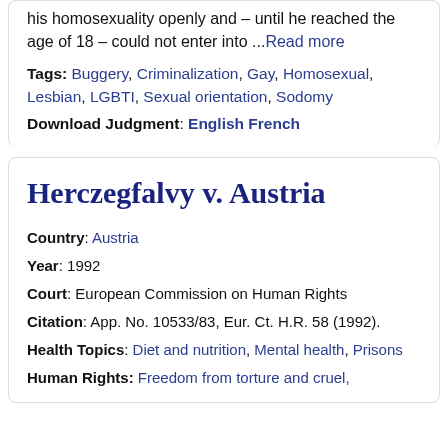his homosexuality openly and – until he reached the age of 18 – could not enter into ...Read more
Tags: Buggery, Criminalization, Gay, Homosexual, Lesbian, LGBTI, Sexual orientation, Sodomy
Download Judgment: English French
Herczegfalvy v. Austria
Country: Austria
Year: 1992
Court: European Commission on Human Rights
Citation: App. No. 10533/83, Eur. Ct. H.R. 58 (1992).
Health Topics: Diet and nutrition, Mental health, Prisons
Human Rights: Freedom from torture and cruel,